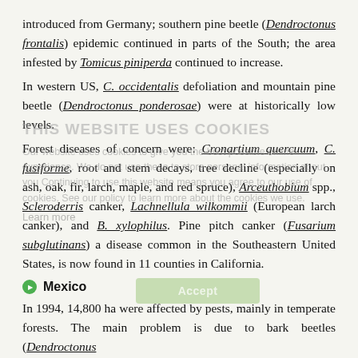introduced from Germany; southern pine beetle (Dendroctonus frontalis) epidemic continued in parts of the South; the area infested by Tomicus piniperda continued to increase.
In western US, C. occidentalis defoliation and mountain pine beetle (Dendroctonus ponderosae) were at historically low levels.
Forest diseases of concern were: Cronartium quercuum, C. fusiforme, root and stem decays, tree decline (especially on ash, oak, fir, larch, maple, and red spruce), Arceuthobium spp., Scleroderris canker, Lachnellula wilkommii (European larch canker), and B. xylophilus. Pine pitch canker (Fusarium subglutinans) a disease common in the Southeastern United States, is now found in 11 counties in California.
Mexico
In 1994, 14,800 ha were affected by pests, mainly in temperate forests. The main problem is due to bark beetles (Dendroctonus